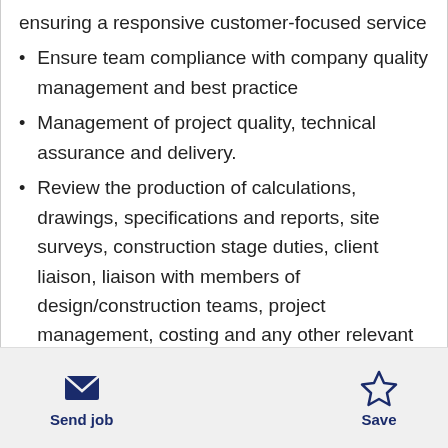ensuring a responsive customer-focused service
Ensure team compliance with company quality management and best practice
Management of project quality, technical assurance and delivery.
Review the production of calculations, drawings, specifications and reports, site surveys, construction stage duties, client liaison, liaison with members of design/construction teams, project management, costing and any other relevant duty required to comply with the project brief.
Send job  Save